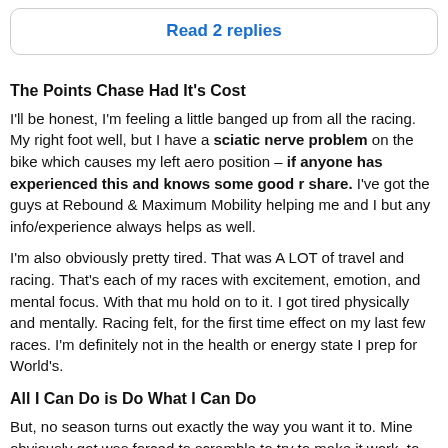Read 2 replies
The Points Chase Had It's Cost
I'll be honest, I'm feeling a little banged up from all the racing. My right foot well, but I have a sciatic nerve problem on the bike which causes my left aero position – if anyone has experienced this and knows some good r share. I've got the guys at Rebound & Maximum Mobility helping me and I but any info/experience always helps as well.
I'm also obviously pretty tired. That was A LOT of travel and racing. That's each of my races with excitement, emotion, and mental focus. With that mu hold on to it. I got tired physically and mentally. Racing felt, for the first time effect on my last few races. I'm definitely not in the health or energy state I prep for World's.
All I Can Do is Do What I Can Do
But, no season turns out exactly the way you want it to. Mine obviously got was forced to scramble to try to make it work, to try to achieve my goal. So little less confident than I'd like to be. Well, I can't control those things that can do. I've got 5 weeks. That's it. No travel, no racing, no outside commitr home in Bend training, resting, and physical theraping my ass off. My confi but I still believe I can have a great race at Mont Tremblant on September